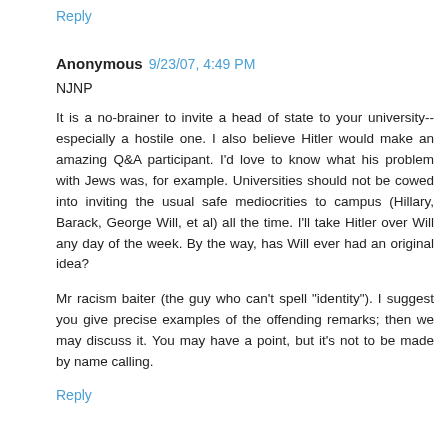Reply
Anonymous 9/23/07, 4:49 PM
NJNP
It is a no-brainer to invite a head of state to your university--especially a hostile one. I also believe Hitler would make an amazing Q&A participant. I'd love to know what his problem with Jews was, for example. Universities should not be cowed into inviting the usual safe mediocrities to campus (Hillary, Barack, George Will, et al) all the time. I'll take Hitler over Will any day of the week. By the way, has Will ever had an original idea?
Mr racism baiter (the guy who can't spell "identity"). I suggest you give precise examples of the offending remarks; then we may discuss it. You may have a point, but it's not to be made by name calling.
Reply